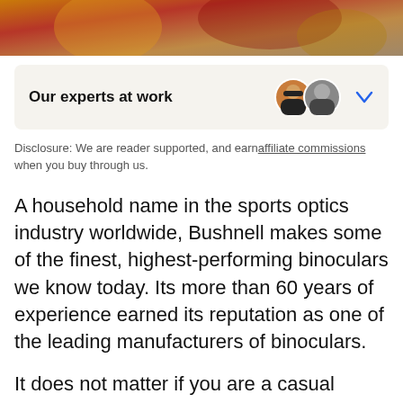[Figure (photo): Partial photo strip at top of page showing people outdoors, with warm orange/red/tan tones suggesting hiking or outdoor activity.]
Our experts at work
Disclosure: We are reader supported, and earn affiliate commissions when you buy through us.
A household name in the sports optics industry worldwide, Bushnell makes some of the finest, highest-performing binoculars we know today. Its more than 60 years of experience earned its reputation as one of the leading manufacturers of binoculars.
It does not matter if you are a casual traveler who likes viewing nature or a professional hunter who